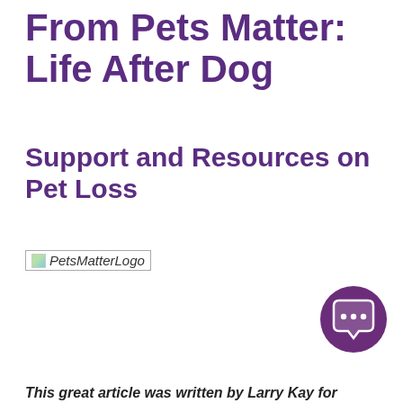From Pets Matter: Life After Dog
Support and Resources on Pet Loss
[Figure (logo): PetsMatterLogo — broken image placeholder with italic text 'PetsMatterLogo']
[Figure (other): Purple circular chat bubble icon with three dots in the bottom-right corner of the page]
This great article was written by Larry Kay for